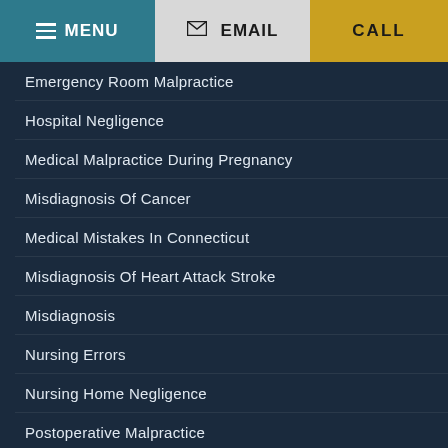MENU | EMAIL | CALL
Emergency Room Malpractice
Hospital Negligence
Medical Malpractice During Pregnancy
Misdiagnosis Of Cancer
Medical Mistakes In Connecticut
Misdiagnosis Of Heart Attack Stroke
Misdiagnosis
Nursing Errors
Nursing Home Negligence
Postoperative Malpractice
Surgical Injuries